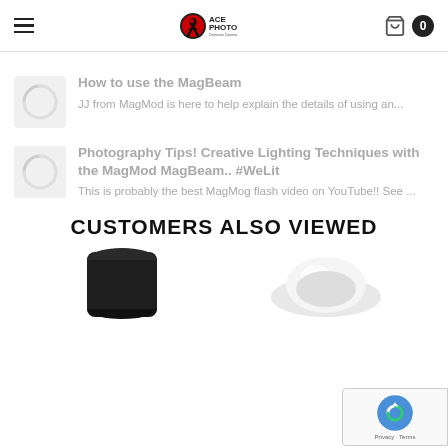ACE PHOTO Dominion Camera — navigation header with logo, hamburger menu, and cart (0 items)
How to use the MagBeam — JJ from MagMod is here to help explain the details of using an...
Photography Tips! Creative Lighting Techniques with the MagMod MagBeam.. #WeLit — This is probably the best MagMog flash video on YouTube!! See ...
CUSTOMERS ALSO VIEWED
[Figure (photo): Two product images partially visible at bottom of page: a black cylindrical object on the left and a white reflective object on the right]